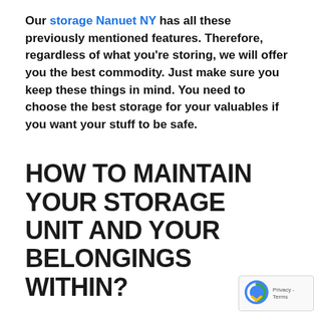Our storage Nanuet NY has all these previously mentioned features. Therefore, regardless of what you're storing, we will offer you the best commodity. Just make sure you keep these things in mind. You need to choose the best storage for your valuables if you want your stuff to be safe.
HOW TO MAINTAIN YOUR STORAGE UNIT AND YOUR BELONGINGS WITHIN?
Besides choosing the best storage for your valuables, you need to take care of that unit as well. Therefore, not enough to simply put your belongings in the unit